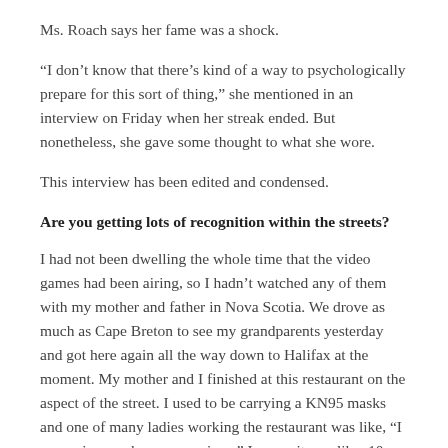Ms. Roach says her fame was a shock.
“I don’t know that there’s kind of a way to psychologically prepare for this sort of thing,” she mentioned in an interview on Friday when her streak ended. But nonetheless, she gave some thought to what she wore.
This interview has been edited and condensed.
Are you getting lots of recognition within the streets?
I had not been dwelling the whole time that the video games had been airing, so I hadn’t watched any of them with my mother and father in Nova Scotia. We drove as much as Cape Breton to see my grandparents yesterday and got here again all the way down to Halifax at the moment. My mother and I finished at this restaurant on the aspect of the street. I used to be carrying a KN95 masks and one of many ladies working the restaurant was like, “I recognize you by your earrings.” I swear it was like, 10 ladies got here out from the kitchen, like clowns popping out of a clown automobile. They simply stored